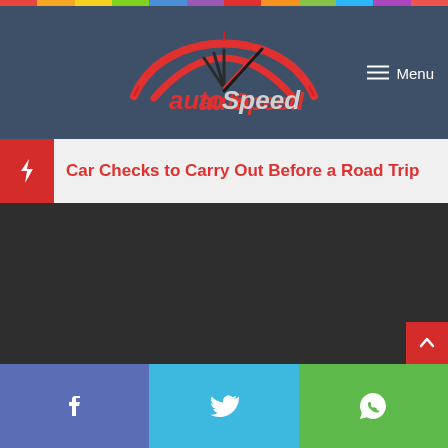autoSpeed — Menu
Car Checks to Carry Out Before a Road Trip
[Figure (other): Dark content area placeholder image for road trip article]
[Figure (other): Social share bar with Facebook, Twitter, WhatsApp icons]